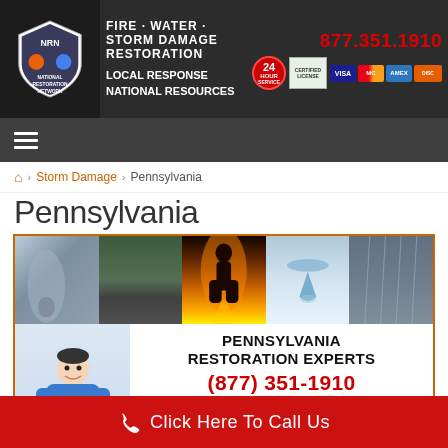[Figure (screenshot): NRN National Restoration Network header banner with logo, Fire-Water-Storm Damage Restoration text, Local Response National Resources tagline, 877.351.1910 phone number, 24-hour badge, certification badge, and credit card logos]
[Figure (screenshot): Dark gray navigation bar with hamburger menu icon]
🏠 > Storm Damage > Pennsylvania
Pennsylvania
[Figure (infographic): Pennsylvania Restoration Experts promotional image with storm scenes (tornado, road, fire, water drop, rain), photo of man in blue shirt, company name, phone number (877) 351-1910, and service list: Storm Damage Cleanup, Temporary Roof Tarps, Emergency Board Up, Secure Structures, Remove Fallen Trees, Personal Property Inventory]
Click Here To Call Us